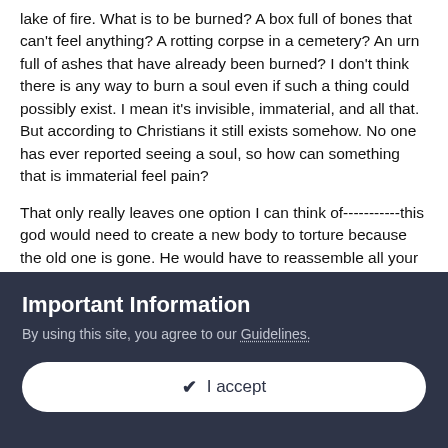lake of fire. What is to be burned? A box full of bones that can't feel anything? A rotting corpse in a cemetery? An urn full of ashes that have already been burned? I don't think there is any way to burn a soul even if such a thing could possibly exist. I mean it's invisible, immaterial, and all that. But according to Christians it still exists somehow. No one has ever reported seeing a soul, so how can something that is immaterial feel pain?
That only really leaves one option I can think of-----------this god would need to create a new body to torture because the old one is gone. He would have to reassemble all your thoughts, memories, personality traits, likes and dislikes, I mean just everything that made you the person you were. Then he would have to manufacture a new body to torture after reinserting all your bits into it. So lets see------do you get a clone of the body you had before? Exactly as it was when you died? How about a
Important Information
By using this site, you agree to our Guidelines.
✔  I accept